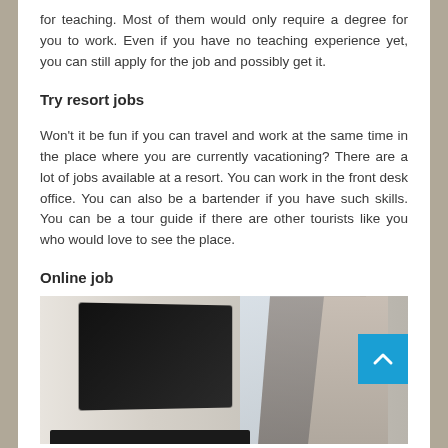for teaching. Most of them would only require a degree for you to work. Even if you have no teaching experience yet, you can still apply for the job and possibly get it.
Try resort jobs
Won't it be fun if you can travel and work at the same time in the place where you are currently vacationing? There are a lot of jobs available at a resort. You can work in the front desk office. You can also be a bartender if you have such skills. You can be a tour guide if there are other tourists like you who would love to see the place.
Online job
[Figure (photo): Person working on a laptop in a bright indoor setting, another person visible in background]